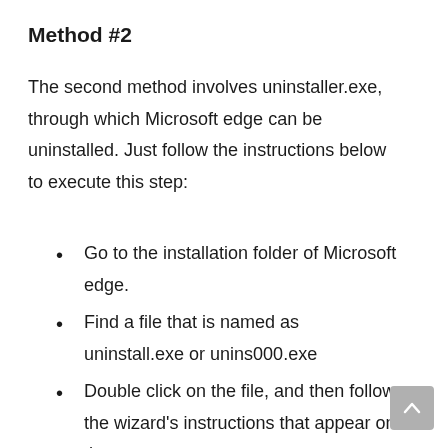Method #2
The second method involves uninstaller.exe, through which Microsoft edge can be uninstalled. Just follow the instructions below to execute this step:
Go to the installation folder of Microsoft edge.
Find a file that is named as uninstall.exe or unins000.exe
Double click on the file, and then follow the wizard's instructions that appear on the screen.